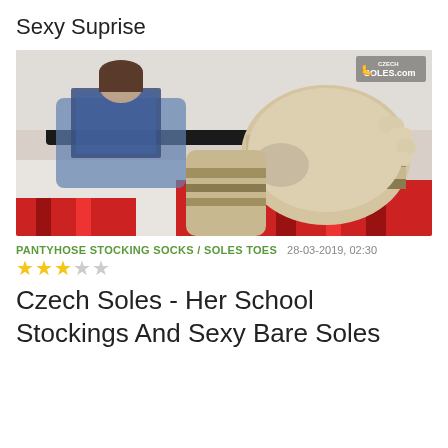Sexy Suprise
[Figure (photo): Woman lying on bed reading a book with striped socks raised toward camera showing soles, red patterned blanket, watermark 'Czech Soles.com' in top right corner]
PANTYHOSE STOCKING SOCKS / SOLES TOES   28-03-2019, 02:30
★★★☆☆
Czech Soles - Her School Stockings And Sexy Bare Soles